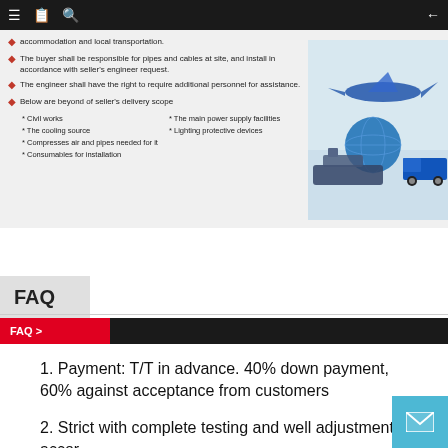Navigation bar with menu, document, search icons and back arrow
accommodation and local transportation.
The buyer shall be responsible for pipes and cables at site, and install in accordance with seller's engineer request.
The engineer shall have the right to require additional personnel for assistance.
Below are beyond of seller's delivery scope
* Civil works  * The main power supply facilities
* The cooling source  * Lighting protective devices
* Compresses air and pipes needed for it
* Consumables for installation
[Figure (photo): Logistics/transport image showing airplane, cargo ship, globe, and blue truck on reflective surface]
FAQ
FAQ >
1. Payment: T/T in advance. 40% down payment, 60% against acceptance from customers
2. Strict with complete testing and well adjustment accor...